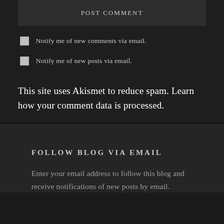POST COMMENT
Notify me of new comments via email.
Notify me of new posts via email.
This site uses Akismet to reduce spam. Learn how your comment data is processed.
FOLLOW BLOG VIA EMAIL
Enter your email address to follow this blog and receive notifications of new posts by email.